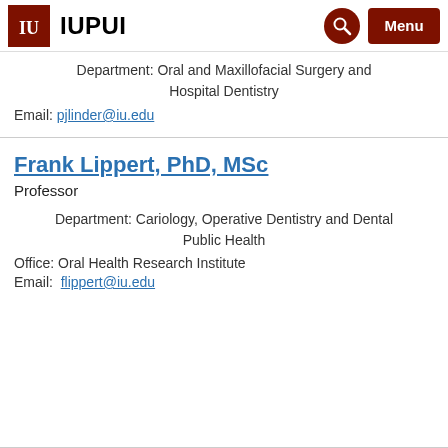IUPUI
Department: Oral and Maxillofacial Surgery and Hospital Dentistry
Email: pjlinder@iu.edu
Frank Lippert, PhD, MSc
Professor
Department: Cariology, Operative Dentistry and Dental Public Health
Office: Oral Health Research Institute
Email: flippert@iu.edu